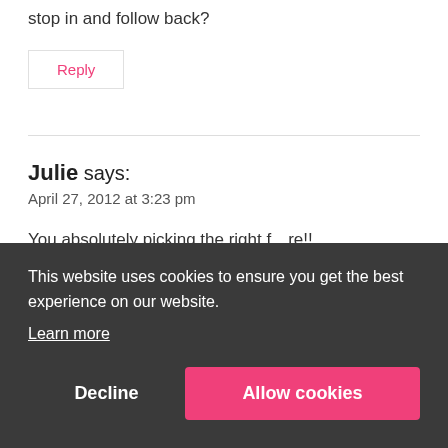stop in and follow back?
Reply
Julie says:
April 27, 2012 at 3:23 pm
You absolutely picking the right f…re!! …sit
This website uses cookies to ensure you get the best experience on our website. Learn more
Decline
Allow cookies